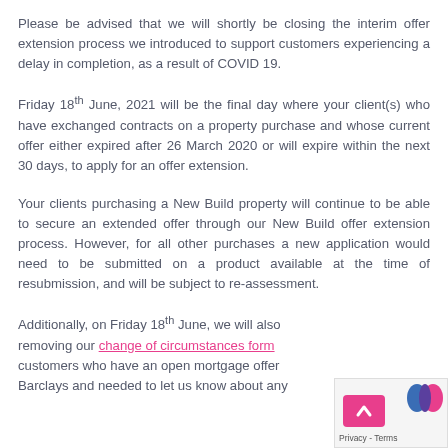Please be advised that we will shortly be closing the interim offer extension process we introduced to support customers experiencing a delay in completion, as a result of COVID 19.
Friday 18th June, 2021 will be the final day where your client(s) who have exchanged contracts on a property purchase and whose current offer either expired after 26 March 2020 or will expire within the next 30 days, to apply for an offer extension.
Your clients purchasing a New Build property will continue to be able to secure an extended offer through our New Build offer extension process. However, for all other purchases a new application would need to be submitted on a product available at the time of resubmission, and will be subject to re-assessment.
Additionally, on Friday 18th June, we will also removing our change of circumstances form customers who have an open mortgage offer Barclays and needed to let us know about any